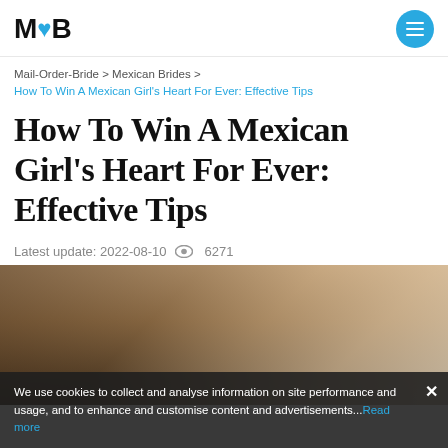M♥B
Mail-Order-Bride > Mexican Brides > How To Win A Mexican Girl's Heart For Ever: Effective Tips
How To Win A Mexican Girl's Heart For Ever: Effective Tips
Latest update: 2022-08-10  👁 6271
[Figure (photo): A couple smiling together, man and woman in close embrace, warm indoor lighting]
We use cookies to collect and analyse information on site performance and usage, and to enhance and customise content and advertisements...Read more